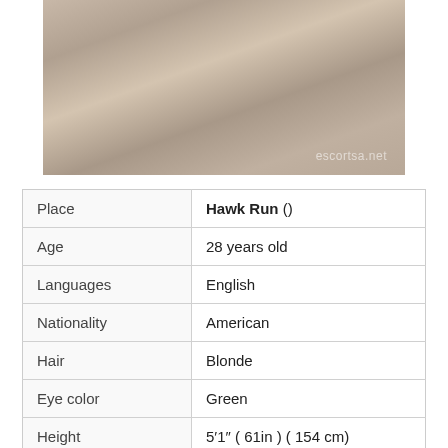[Figure (photo): Photo of a person on a bed with knit/textured bedding, wearing red lingerie, with watermark 'escortsa.net']
| Place | Hawk Run () |
| Age | 28 years old |
| Languages | English |
| Nationality | American |
| Hair | Blonde |
| Eye color | Green |
| Height | 5′1″ ( 61in ) ( 154 cm) |
| Weight | 112 lbs (51 kg) |